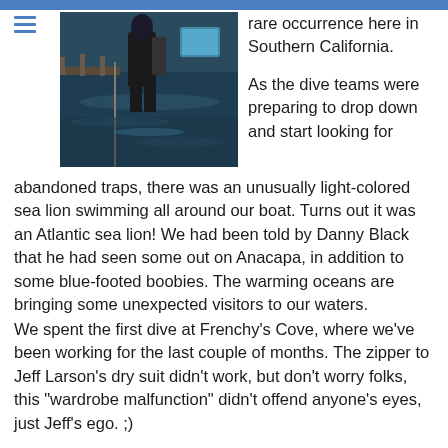[Figure (photo): A person in diving gear standing on a boat deck near water, with blue ocean visible below and equipment in the background.]
rare occurrence here in Southern California.
As the dive teams were preparing to drop down and start looking for abandoned traps, there was an unusually light-colored sea lion swimming all around our boat.  Turns out it was an Atlantic sea lion!  We had been told by Danny Black that he had seen some out on Anacapa, in addition to some blue-footed boobies.  The warming oceans are bringing some unexpected visitors to our waters.
We spent the first dive at Frenchy's Cove, where we've been working for the last couple of months.  The zipper to Jeff Larson's dry suit didn't work, but don't worry folks, this "wardrobe malfunction" didn't offend anyone's eyes, just Jeff's ego.  ;)